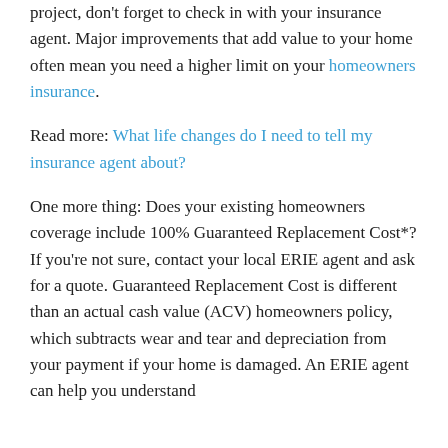project, don't forget to check in with your insurance agent. Major improvements that add value to your home often mean you need a higher limit on your homeowners insurance.
Read more: What life changes do I need to tell my insurance agent about?
One more thing: Does your existing homeowners coverage include 100% Guaranteed Replacement Cost*? If you're not sure, contact your local ERIE agent and ask for a quote. Guaranteed Replacement Cost is different than an actual cash value (ACV) homeowners policy, which subtracts wear and tear and depreciation from your payment if your home is damaged. An ERIE agent can help you understand the difference and what that...